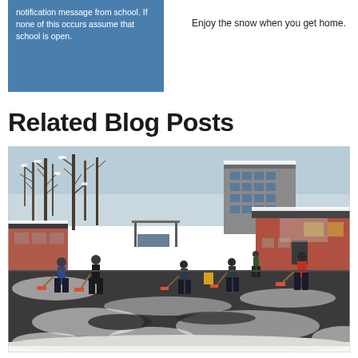notification message from school. If none of this occurs assume that school is open.
Enjoy the snow when you get home.
Related Blog Posts
[Figure (photo): People shoveling snow in a school playground with snow-covered grounds, bare trees, and brick school buildings in the background on a winter day.]